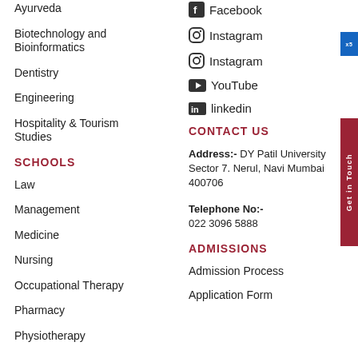Ayurveda
Biotechnology and Bioinformatics
Dentistry
Engineering
Hospitality & Tourism Studies
SCHOOLS
Law
Management
Medicine
Nursing
Occupational Therapy
Pharmacy
Physiotherapy
Facebook
Instagram
Instagram
YouTube
linkedin
CONTACT US
Address:- DY Patil University Sector 7, Nerul, Navi Mumbai 400706
Telephone No:- 022 3096 5888
ADMISSIONS
Admission Process
Application Form